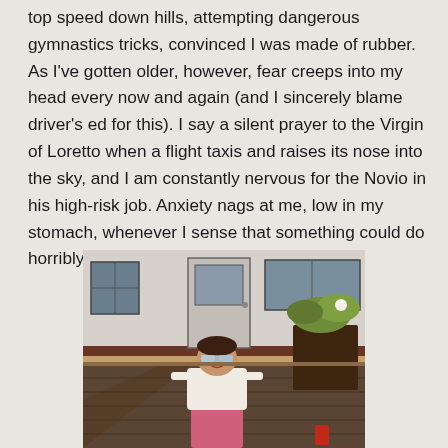top speed down hills, attempting dangerous gymnastics tricks, convinced I was made of rubber. As I've gotten older, however, fear creeps into my head every now and again (and I sincerely blame driver's ed for this). I say a silent prayer to the Virgin of Loretto when a flight taxis and raises its nose into the sky, and I am constantly nervous for the Novio in his high-risk job. Anxiety nags at me, low in my stomach, whenever I sense that something could do horribly wrong.
[Figure (photo): A young child wearing sunglasses sits on a wooden deck in front of a recreational vehicle (RV/camper). The child is wearing a white shirt and pink pants. There is a large planter with flowers/plants on the right side, and a small red cup visible in the lower right. The RV has a brown and tan stripe along its side.]